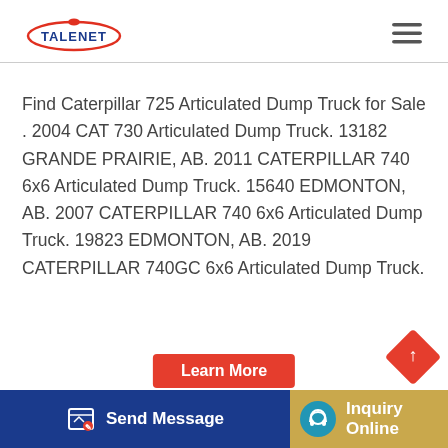TALENET [logo] [hamburger menu]
Find Caterpillar 725 Articulated Dump Truck for Sale . 2004 CAT 730 Articulated Dump Truck. 13182 GRANDE PRAIRIE, AB. 2011 CATERPILLAR 740 6x6 Articulated Dump Truck. 15640 EDMONTON, AB. 2007 CATERPILLAR 740 6x6 Articulated Dump Truck. 19823 EDMONTON, AB. 2019 CATERPILLAR 740GC 6x6 Articulated Dump Truck.